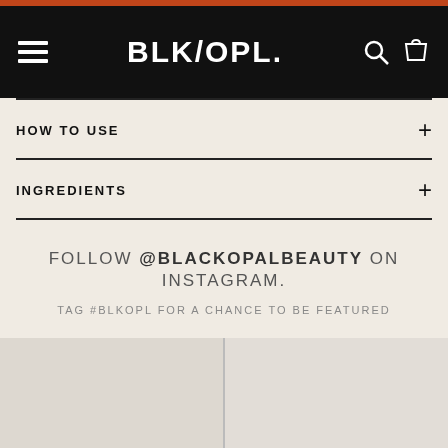BLK/OPL. navigation header
HOW TO USE
INGREDIENTS
FOLLOW @BLACKOPALBEAUTY ON INSTAGRAM.
TAG #BLKOPL FOR A CHANCE TO BE FEATURED
[Figure (photo): Instagram photo grid - two image placeholders side by side]